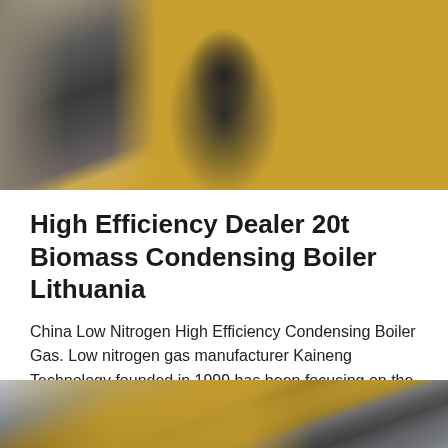[Figure (photo): Industrial biomass condensing boiler equipment with metal pipes and yellow gas pipes in an outdoor/industrial setting]
High Efficiency Dealer 20t Biomass Condensing Boiler Lithuania
China Low Nitrogen High Efficiency Condensing Boiler Gas. Low nitrogen gas manufacturer Kaineng Technology founded in 1999 has been focusing on the research and development of flue gas waste heat recovery and heatin…
Get Price
[Figure (photo): Another industrial boiler installation photo with yellow/orange pipes visible at bottom of page]